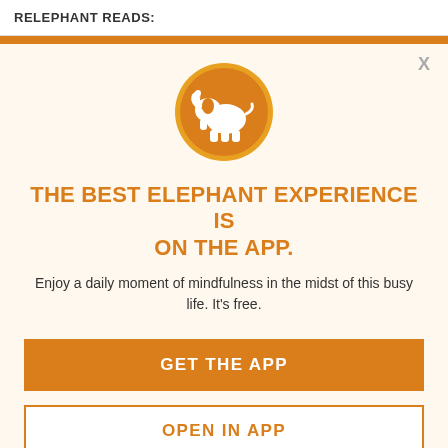RELEPHANT READS:
[Figure (logo): White elephant silhouette on orange circle background, representing the Elephant app logo]
THE BEST ELEPHANT EXPERIENCE IS ON THE APP.
Enjoy a daily moment of mindfulness in the midst of this busy life. It's free.
GET THE APP
OPEN IN APP